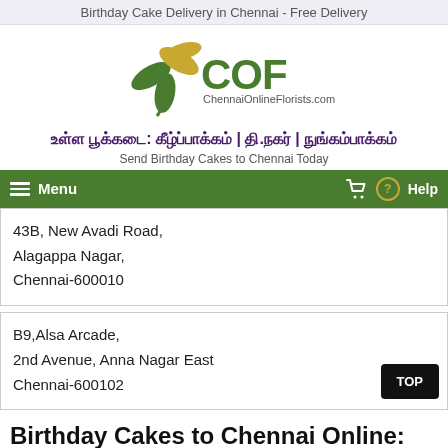Birthday Cake Delivery in Chennai - Free Delivery
[Figure (logo): ChennaiOnlineFlorists.com logo with golden flower and COF text]
உள்ள பூக்கடை: கீழ்ப்பாக்கம் | தி.நகர் | நுங்கம்பாக்கம்
Send Birthday Cakes to Chennai Today
Menu  Help
43B, New Avadi Road,
Alagappa Nagar,
Chennai-600010
B9,Alsa Arcade,
2nd Avenue, Anna Nagar East
Chennai-600102
Birthday Cakes to Chennai Online: Quick Delivery